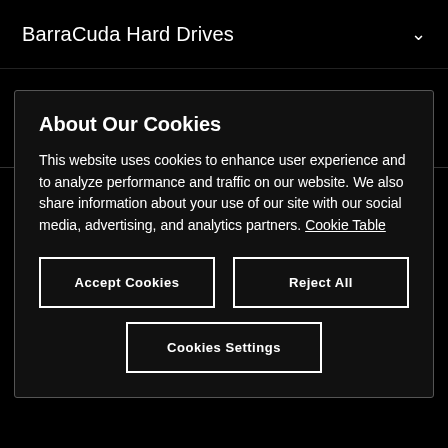BarraCuda Hard Drives
Our Story
Product Support
Global Citizenship
Software Downloads
About Our Cookies
This website uses cookies to enhance user experience and to analyze performance and traffic on our website. We also share information about your use of our site with our social media, advertising, and analytics partners. Cookie Table
Accept Cookies
Reject All
Cookies Settings